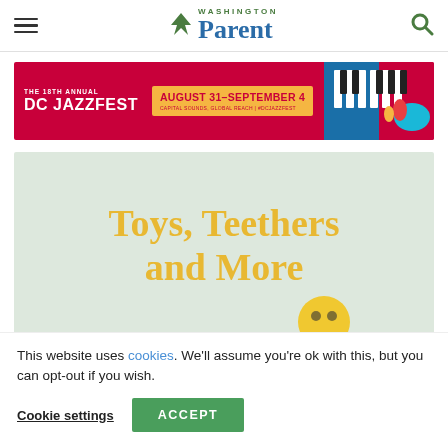Washington Parent
[Figure (illustration): DC Jazzfest advertisement banner: red background with 'THE 18TH ANNUAL DC JAZZFEST' text, gold box showing 'AUGUST 31–SEPTEMBER 4 CAPITAL SOUNDS, GLOBAL REACH | #DCJAZZFEST', and colorful piano/hand illustration on right]
[Figure (illustration): Article featured image with light green/gray background showing text 'Toys, Teethers and More' in large gold/yellow serif font, with a small yellow ball visible at bottom]
This website uses cookies. We'll assume you're ok with this, but you can opt-out if you wish.
Cookie settings   ACCEPT